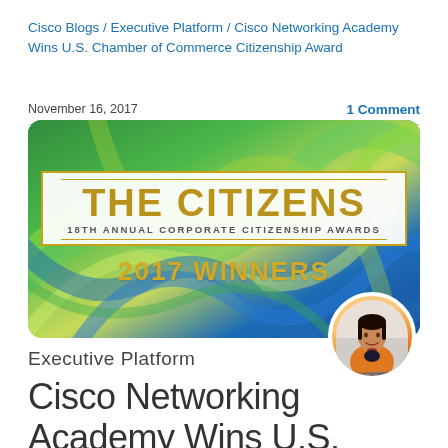Cisco Blogs / Executive Platform / Cisco Networking Academy Wins U.S. Chamber of Commerce Citizenship Award
November 16, 2017
1 Comment
[Figure (photo): THE CITIZENS – 18TH ANNUAL CORPORATE CITIZENSHIP AWARDS – 2017 WINNERS banner with green and blue swirl background and a circular headshot photo of a woman in an orange jacket]
Executive Platform
Cisco Networking Academy Wins U.S.